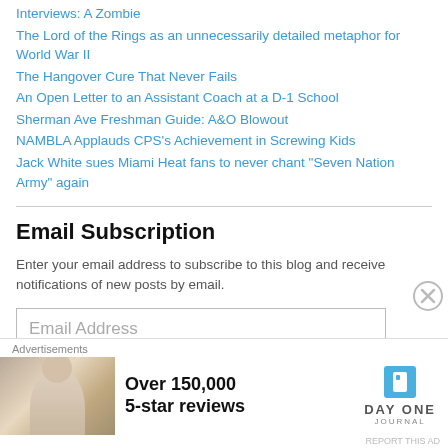Interviews: A Zombie
The Lord of the Rings as an unnecessarily detailed metaphor for World War II
The Hangover Cure That Never Fails
An Open Letter to an Assistant Coach at a D-1 School
Sherman Ave Freshman Guide: A&O Blowout
NAMBLA Applauds CPS's Achievement in Screwing Kids
Jack White sues Miami Heat fans to never chant "Seven Nation Army" again
Email Subscription
Enter your email address to subscribe to this blog and receive notifications of new posts by email.
Email Address
[Figure (other): Advertisement banner for Day One Journal app showing a person photographing a sunset, text 'Over 150,000 5-star reviews' and Day One Journal logo]